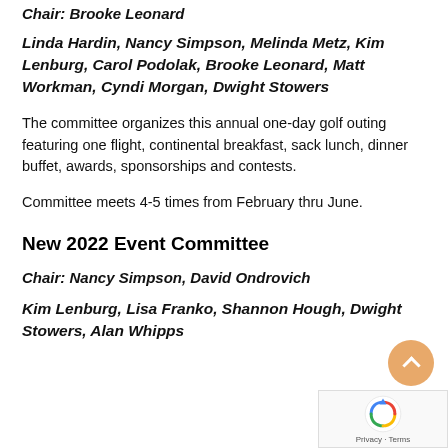Chair: Brooke Leonard
Linda Hardin, Nancy Simpson, Melinda Metz, Kim Lenburg, Carol Podolak, Brooke Leonard, Matt Workman, Cyndi Morgan, Dwight Stowers
The committee organizes this annual one-day golf outing featuring one flight, continental breakfast, sack lunch, dinner buffet, awards, sponsorships and contests.
Committee meets 4-5 times from February thru June.
New 2022 Event Committee
Chair: Nancy Simpson, David Ondrovich
Kim Lenburg, Lisa Franko, Shannon Hough, Dwight Stowers, Alan Whipps